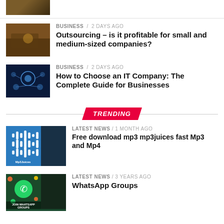[Figure (photo): Partial thumbnail of business/person image at top, cropped]
[Figure (photo): Person using laptop at a wooden desk]
BUSINESS / 2 days ago
Outsourcing – is it profitable for small and medium-sized companies?
[Figure (photo): Hand holding a cloud icon with connected IoT/IT network icons, dark blue background]
BUSINESS / 2 days ago
How to Choose an IT Company: The Complete Guide for Businesses
TRENDING
[Figure (photo): Mp3Juices app thumbnail with blue background and waveform icons]
LATEST NEWS / 1 month ago
Free download mp3 mp3juices fast Mp3 and Mp4
[Figure (photo): WhatsApp groups promotional image with WhatsApp logo and emoji icons]
LATEST NEWS / 3 years ago
WhatsApp Groups